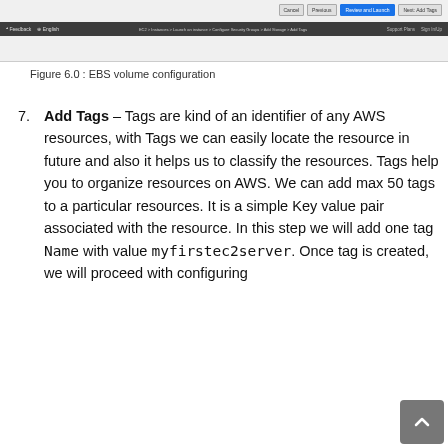[Figure (screenshot): Screenshot of AWS console navigation bar showing Cancel, Previous, Review and Launch, and Next: Add Tags buttons at top right, and a dark bottom toolbar with Feedback, English, and other navigation links.]
Figure 6.0 : EBS volume configuration
Add Tags – Tags are kind of an identifier of any AWS resources, with Tags we can easily locate the resource in future and also it helps us to classify the resources. Tags help you to organize resources on AWS. We can add max 50 tags to a particular resources. It is a simple Key value pair associated with the resource. In this step we will add one tag Name with value myfirstec2server. Once tag is created, we will proceed with configuring